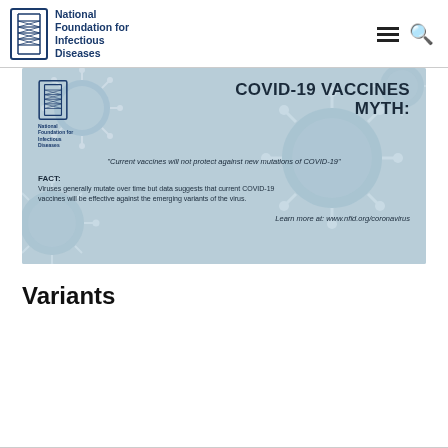National Foundation for Infectious Diseases
[Figure (infographic): COVID-19 Vaccines Myth infographic on a light blue background with coronavirus imagery. Contains NFID logo, title 'COVID-19 VACCINES MYTH:', myth quote 'Current vaccines will not protect against new mutations of COVID-19', FACT text about viruses mutating, and link to www.nfid.org/coronavirus]
Variants